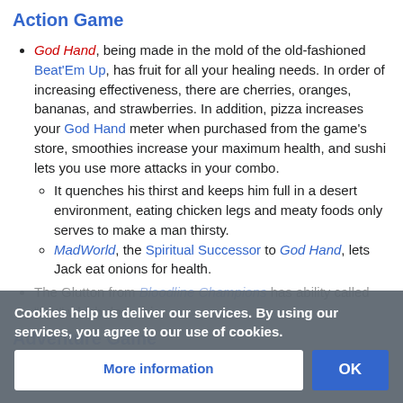Action Game
God Hand, being made in the mold of the old-fashioned Beat'Em Up, has fruit for all your healing needs. In order of increasing effectiveness, there are cherries, oranges, bananas, and strawberries. In addition, pizza increases your God Hand meter when purchased from the game's store, smoothies increase your maximum health, and sushi lets you use more attacks in your combo.
It quenches his thirst and keeps him full in a desert environment, eating chicken legs and meaty foods only serves to make a man thirsty.
MadWorld, the Spiritual Successor to God Hand, lets Jack eat onions for health.
The Glutton from Bloodline Champions has ability called "Eat" which does this.
Adventure Game
Cookies help us deliver our services. By using our services, you agree to our use of cookies.